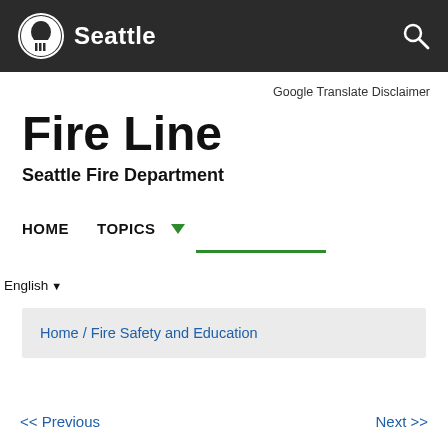Seattle
Google Translate Disclaimer
Fire Line
Seattle Fire Department
HOME   TOPICS
English
Home / Fire Safety and Education
<< Previous   Next >>